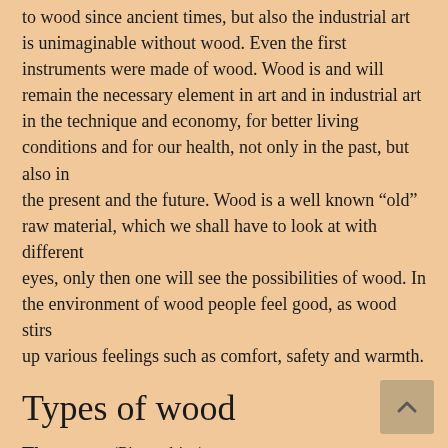to wood since ancient times, but also the industrial art is unimaginable without wood. Even the first instruments were made of wood. Wood is and will remain the necessary element in art and in industrial art in the technique and economy, for better living conditions and for our health, not only in the past, but also in the present and the future. Wood is a well known “old” raw material, which we shall have to look at with different eyes, only then one will see the possibilities of wood. In the environment of wood people feel good, as wood stirs up various feelings such as comfort, safety and warmth.
Types of wood
The spruce (Picea abies) A conifer with single short needles and downward hanging branches. The best selection from our native trees.